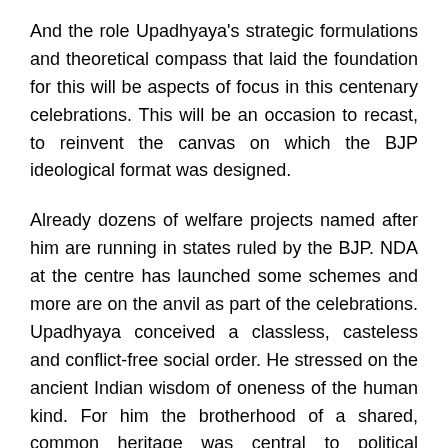And the role Upadhyaya's strategic formulations and theoretical compass that laid the foundation for this will be aspects of focus in this centenary celebrations. This will be an occasion to recast, to reinvent the canvas on which the BJP ideological format was designed.
Already dozens of welfare projects named after him are running in states ruled by the BJP. NDA at the centre has launched some schemes and more are on the anvil as part of the celebrations. Upadhyaya conceived a classless, casteless and conflict-free social order. He stressed on the ancient Indian wisdom of oneness of the human kind. For him the brotherhood of a shared, common heritage was central to political activism. He emphasised on co-existence and harmony with nature. Not sustainable development, but sustainable conservation, his objective, as Hindutva...